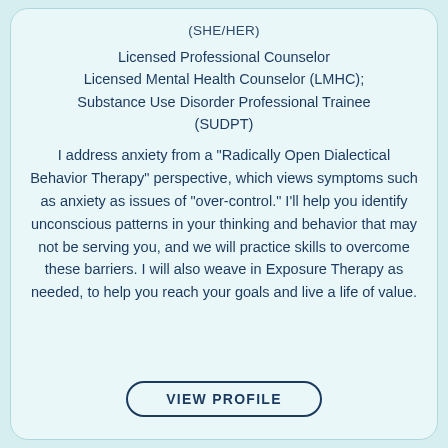(SHE/HER)
Licensed Professional Counselor
Licensed Mental Health Counselor (LMHC);
Substance Use Disorder Professional Trainee (SUDPT)
I address anxiety from a "Radically Open Dialectical Behavior Therapy" perspective, which views symptoms such as anxiety as issues of "over-control." I'll help you identify unconscious patterns in your thinking and behavior that may not be serving you, and we will practice skills to overcome these barriers. I will also weave in Exposure Therapy as needed, to help you reach your goals and live a life of value.
VIEW PROFILE